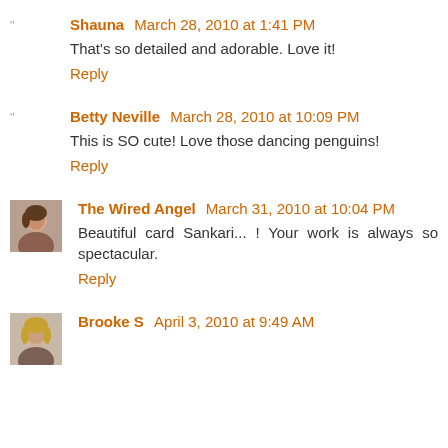Shauna  March 28, 2010 at 1:41 PM
That's so detailed and adorable. Love it!
Reply
Betty Neville  March 28, 2010 at 10:09 PM
This is SO cute! Love those dancing penguins!
Reply
[Figure (photo): Avatar photo of The Wired Angel commenter]
The Wired Angel  March 31, 2010 at 10:04 PM
Beautiful card Sankari... ! Your work is always so spectacular.
Reply
[Figure (photo): Avatar photo of Brooke S commenter]
Brooke S  April 3, 2010 at 9:49 AM